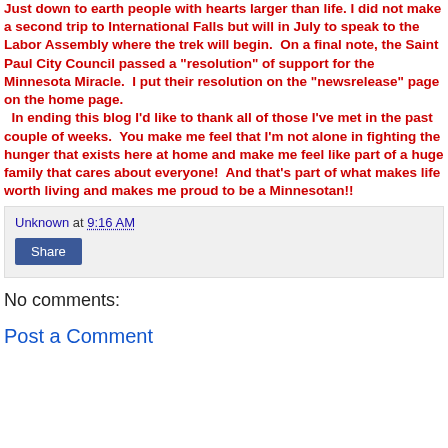Just down to earth people with hearts larger than life. I did not make a second trip to International Falls but will in July to speak to the Labor Assembly where the trek will begin. On a final note, the Saint Paul City Council passed a "resolution" of support for the Minnesota Miracle. I put their resolution on the "newsrelease" page on the home page. In ending this blog I'd like to thank all of those I've met in the past couple of weeks. You make me feel that I'm not alone in fighting the hunger that exists here at home and make me feel like part of a huge family that cares about everyone! And that's part of what makes life worth living and makes me proud to be a Minnesotan!!
Unknown at 9:16 AM
Share
No comments:
Post a Comment